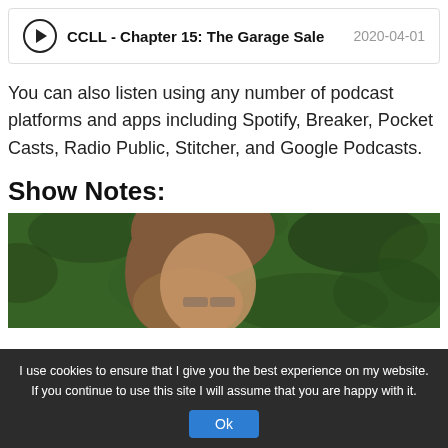[Figure (other): Audio player bar showing podcast episode: CCLL - Chapter 15: The Garage Sale, dated 2020-04-01, with a play button icon]
You can also listen using any number of podcast platforms and apps including Spotify, Breaker, Pocket Casts, Radio Public, Stitcher, and Google Podcasts.
Show Notes:
[Figure (photo): Photo of a person with brown hair in front of green foliage background, partially cropped]
I use cookies to ensure that I give you the best experience on my website. If you continue to use this site I will assume that you are happy with it.